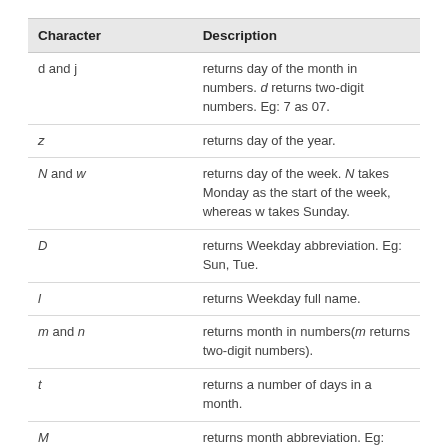| Character | Description |
| --- | --- |
| d and j | returns day of the month in numbers. d returns two-digit numbers. Eg: 7 as 07. |
| z | returns day of the year. |
| N and w | returns day of the week. N takes Monday as the start of the week, whereas w takes Sunday. |
| D | returns Weekday abbreviation. Eg: Sun, Tue. |
| l | returns Weekday full name. |
| m and n | returns month in numbers(m returns two-digit numbers). |
| t | returns a number of days in a month. |
| M | returns month abbreviation. Eg: Jan, Feb |
| F | returns month full name |
| y | returns year in two digits. |
| Y | returns year in four digits. |